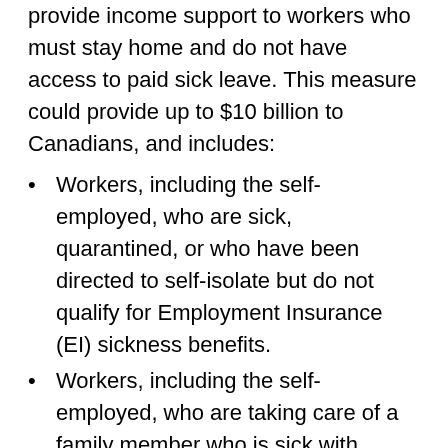provide income support to workers who must stay home and do not have access to paid sick leave. This measure could provide up to $10 billion to Canadians, and includes:
Workers, including the self-employed, who are sick, quarantined, or who have been directed to self-isolate but do not qualify for Employment Insurance (EI) sickness benefits.
Workers, including the self-employed, who are taking care of a family member who is sick with COVID-19, such as an elderly parent or other dependents who are sick, but do not qualify for EI sickness benefits.
EI-eligible and non EI-eligible working parents who must stay home without pay